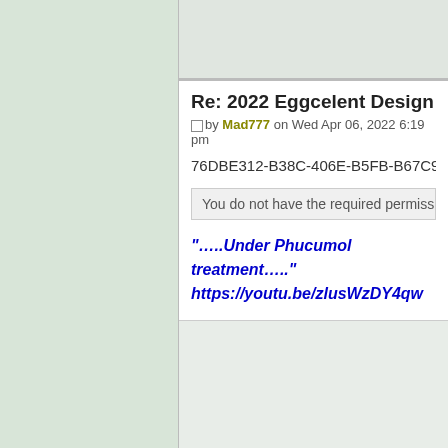Re: 2022 Eggcelent Design Contes
by Mad777 on Wed Apr 06, 2022 6:19 pm
76DBE312-B38C-406E-B5FB-B67C92DE5
You do not have the required permissions to view
"…..Under Phucumol treatment….."
https://youtu.be/zlusWzDY4qw